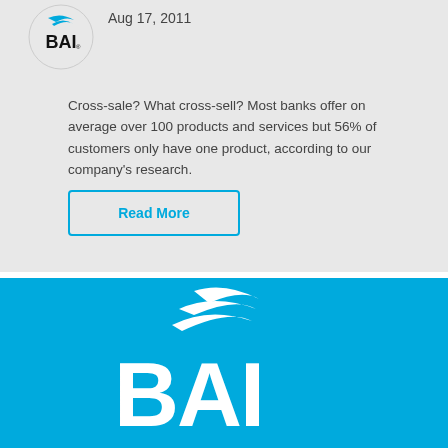[Figure (logo): BAI logo circle with blue swoosh lines and bold BAI text]
Aug 17, 2011
Cross-sale? What cross-sell? Most banks offer on average over 100 products and services but 56% of customers only have one product, according to our company's research.
Read More
[Figure (logo): BAI logo large white on blue background with swoosh lines above BAI text]